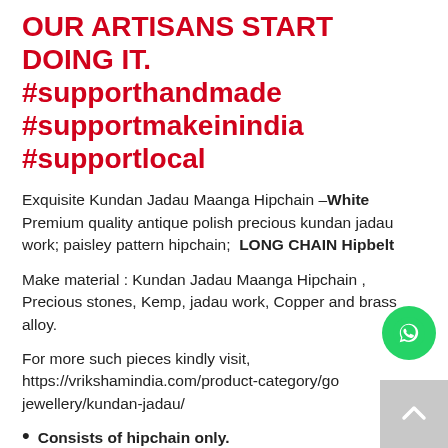OUR ARTISANS START DOING IT. #supporthandmade #supportmakeinindia #supportlocal
Exquisite Kundan Jadau Maanga Hipchain –White Premium quality antique polish precious kundan jadau work; paisley pattern hipchain;  LONG CHAIN Hipbelt
Make material : Kundan Jadau Maanga Hipchain , Precious stones, Kemp, jadau work, Copper and brass alloy.
For more such pieces kindly visit, https://vrikshamindia.com/product-category/gold-jewellery/kundan-jadau/
Consists of hipchain only.